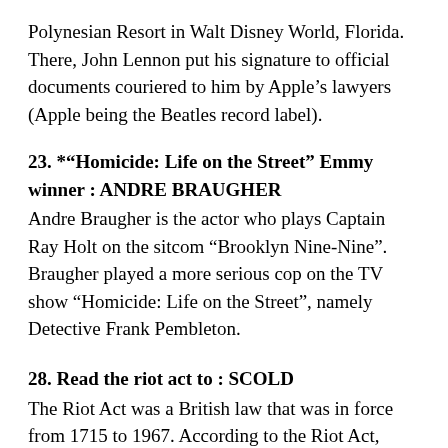Polynesian Resort in Walt Disney World, Florida. There, John Lennon put his signature to official documents couriered to him by Apple's lawyers (Apple being the Beatles record label).
23. *"Homicide: Life on the Street" Emmy winner : ANDRE BRAUGHER
Andre Braugher is the actor who plays Captain Ray Holt on the sitcom “Brooklyn Nine-Nine”. Braugher played a more serious cop on the TV show “Homicide: Life on the Street”, namely Detective Frank Pembleton.
28. Read the riot act to : SCOLD
The Riot Act was a British law that was in force from 1715 to 1967. According to the Riot Act, government entities could declare any gathering of twelve or more people “unlawful”. Our expression “read the Riot Act to” is derived from the requirement for the authorities to read out the Riot Act proclamation to an unlawful assembly before the Act could be enforced.